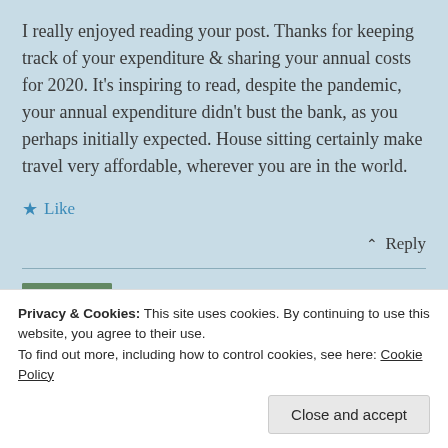I really enjoyed reading your post. Thanks for keeping track of your expenditure & sharing your annual costs for 2020. It's inspiring to read, despite the pandemic, your annual expenditure didn't bust the bank, as you perhaps initially expected. House sitting certainly make travel very affordable, wherever you are in the world.
★ Like
↑ Reply
✎ Glenn
February 17, 2021 at 8:47 pm
Privacy & Cookies: This site uses cookies. By continuing to use this website, you agree to their use.
To find out more, including how to control cookies, see here: Cookie Policy
Close and accept